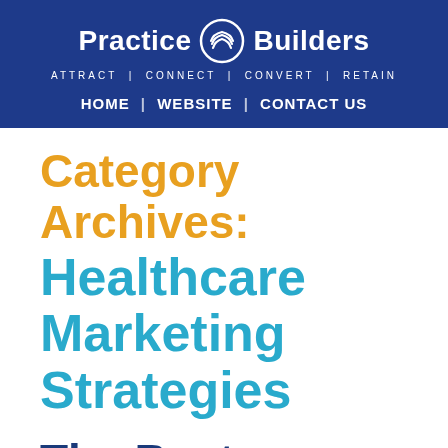[Figure (logo): Practice Builders logo with circular icon, tagline ATTRACT | CONNECT | CONVERT | RETAIN, and navigation links HOME | WEBSITE | CONTACT US on a dark blue background]
Category Archives: Healthcare Marketing Strategies
The Best Marketing